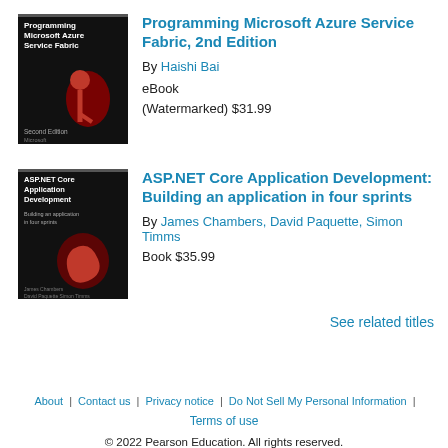[Figure (illustration): Book cover: Programming Microsoft Azure Service Fabric, 2nd Edition - dark background with red key graphic]
Programming Microsoft Azure Service Fabric, 2nd Edition
By Haishi Bai
eBook
(Watermarked) $31.99
[Figure (illustration): Book cover: ASP.NET Core Application Development - dark background with red paperclip graphic]
ASP.NET Core Application Development: Building an application in four sprints
By James Chambers, David Paquette, Simon Timms
Book $35.99
See related titles
About | Contact us | Privacy notice | Do Not Sell My Personal Information | Terms of use
© 2022 Pearson Education. All rights reserved.